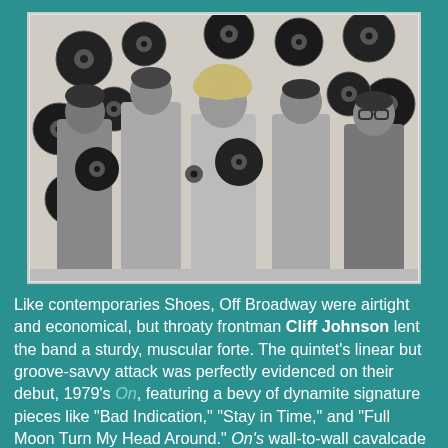[Figure (photo): Black and white photo of five band members (Off Broadway) posing with vinyl records on the wall behind them. Three men on the left, one blonde person in the center with headphones/records, and two men on the right.]
Like contemporaries Shoes, Off Broadway were airtight and economical, but throaty frontman Cliff Johnson lent the band a sturdy, muscular forte.  The quintet's linear but groove-savvy attack was perfectly evidenced on their debut, 1979's On, featuring a bevy of dynamite signature pieces like "Bad Indication," "Stay in Time," and "Full Moon Turn My Head Around."  On's wall-to-wall cavalcade of hooks was so potent it may as well have been a greatest hits album unto itself, and in another years time they delivered another knockout, Quick Turns.  Collectively, neither album generated a Top 40 entry, although "Stay in Time" did